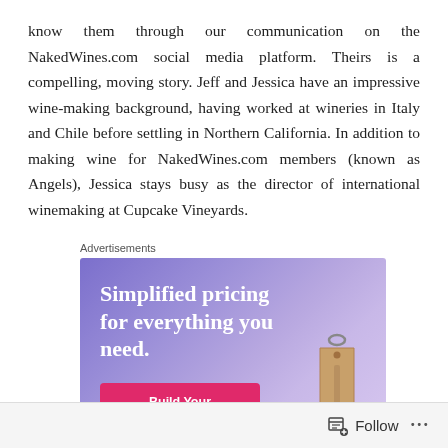know them through our communication on the NakedWines.com social media platform. Theirs is a compelling, moving story. Jeff and Jessica have an impressive wine-making background, having worked at wineries in Italy and Chile before settling in Northern California. In addition to making wine for NakedWines.com members (known as Angels), Jessica stays busy as the director of international winemaking at Cupcake Vineyards.
Advertisements
[Figure (other): Advertisement banner with purple gradient background showing text 'Simplified pricing for everything you need.' with a pink 'Build Your Website' button and a price tag image on the right.]
Follow ...